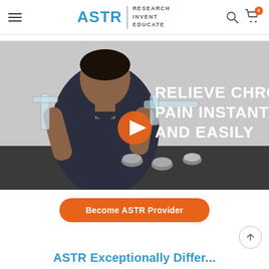ASTR | RESEARCH INVENT EDUCATE
[Figure (screenshot): Video thumbnail showing a man in a dark polo shirt holding clear medical/therapy tools, with text overlay reading 'RELIEVE CHRONIC PAIN INSTANTALY AND EASILY' and an orange play button in the center. Several small cup-like devices are on a dark table in front of him.]
Become ASTR Provider
ASTR Exceptionally Differ...